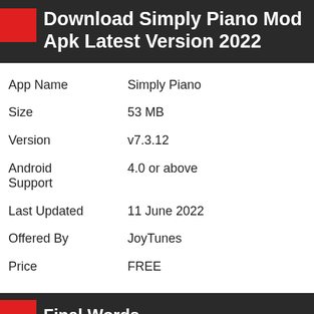Download Simply Piano Mod Apk Latest Version 2022
| Field | Value |
| --- | --- |
| App Name | Simply Piano |
| Size | 53 MB |
| Version | v7.3.12 |
| Android Support | 4.0 or above |
| Last Updated | 11 June 2022 |
| Offered By | JoyTunes |
| Price | FREE |
Final Words